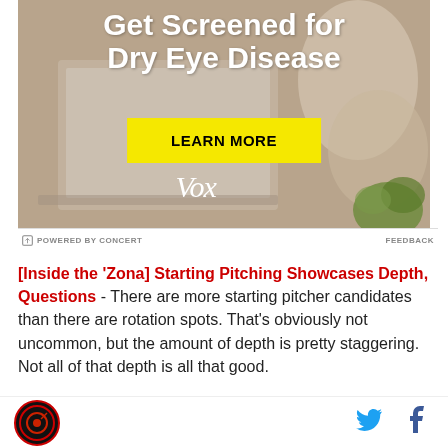[Figure (photo): Advertisement banner for dry eye disease screening featuring a person at a laptop, with bold white text 'Get Screened for Dry Eye Disease', a yellow 'LEARN MORE' button, and the Vox logo. Labeled 'POWERED BY CONCERT' and 'FEEDBACK'.]
[Inside the 'Zona] Starting Pitching Showcases Depth, Questions - There are more starting pitcher candidates than there are rotation spots. That's obviously not uncommon, but the amount of depth is pretty staggering. Not all of that depth is all that good.